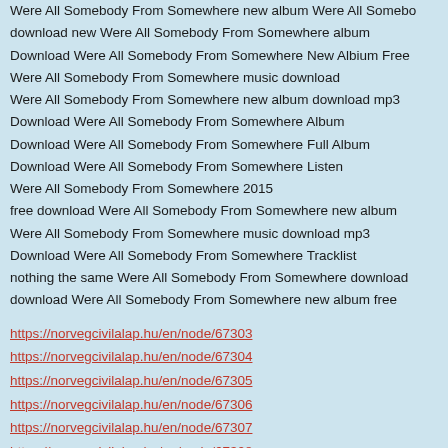Were All Somebody From Somewhere new album Were All Somebody download new Were All Somebody From Somewhere album Download Were All Somebody From Somewhere New Albium Free Were All Somebody From Somewhere music download Were All Somebody From Somewhere new album download mp3 Download Were All Somebody From Somewhere Album Download Were All Somebody From Somewhere Full Album Download Were All Somebody From Somewhere Listen Were All Somebody From Somewhere 2015 free download Were All Somebody From Somewhere new album Were All Somebody From Somewhere music download mp3 Download Were All Somebody From Somewhere Tracklist nothing the same Were All Somebody From Somewhere download download Were All Somebody From Somewhere new album free
https://norvegcivilalap.hu/en/node/67303
https://norvegcivilalap.hu/en/node/67304
https://norvegcivilalap.hu/en/node/67305
https://norvegcivilalap.hu/en/node/67306
https://norvegcivilalap.hu/en/node/67307
https://norvegcivilalap.hu/en/node/67308
https://norvegcivilalap.hu/en/node/67309
https://norvegcivilalap.hu/en/node/67310